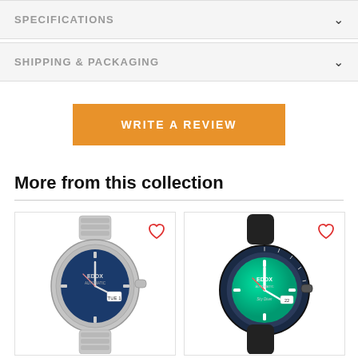SPECIFICATIONS
SHIPPING & PACKAGING
WRITE A REVIEW
More from this collection
[Figure (photo): Edox automatic watch with blue dial and stainless steel bracelet, heart/wishlist icon in top right corner]
[Figure (photo): Edox Sky Diver automatic watch with teal/green dial and dark rubber strap, heart/wishlist icon in top right corner]